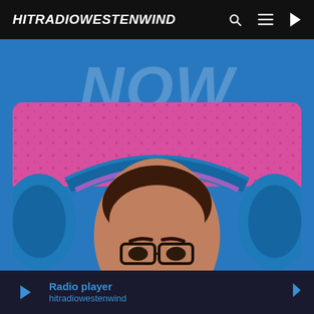HITRADIOWESTENWIND
[Figure (illustration): Hitradio Westenwind website screenshot showing a large blue background with 'NOW' text in large semi-transparent letters, and an album cover image below showing a person wearing large blue headphones against a pink background, viewed from above.]
Radio player
hitradiowestenwind